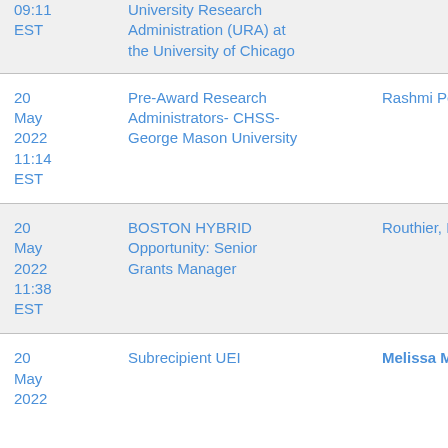| Date/Time | Topic | Person |
| --- | --- | --- |
| 09:11 EST | University Research Administration (URA) at the University of Chicago |  |
| 20 May 2022 11:14 EST | Pre-Award Research Administrators- CHSS- George Mason University | Rashmi Pershad |
| 20 May 2022 11:38 EST | BOSTON HYBRID Opportunity: Senior Grants Manager | Routhier, Nicole |
| 20 May 2022 | Subrecipient UEI | Melissa Miller |